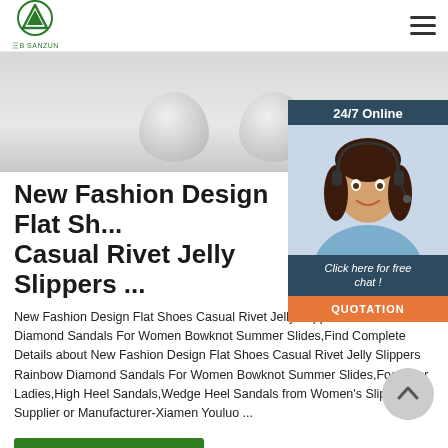三B SANZUN — logo and navigation
[Figure (photo): Hero image showing product items (bowls/spheres) on a light gray background]
[Figure (photo): 24/7 Online chat panel with agent photo, 'Click here for free chat!' text, and orange QUOTATION button]
New Fashion Design Flat Shoes Casual Rivet Jelly Slippers ...
New Fashion Design Flat Shoes Casual Rivet Jelly Slippers Rainbow Diamond Sandals For Women Bowknot Summer Slides,Find Complete Details about New Fashion Design Flat Shoes Casual Rivet Jelly Slippers Rainbow Diamond Sandals For Women Bowknot Summer Slides,Footwear Ladies,High Heel Sandals,Wedge Heel Sandals from Women's Slippers Supplier or Manufacturer-Xiamen Youluo ...
Get Price